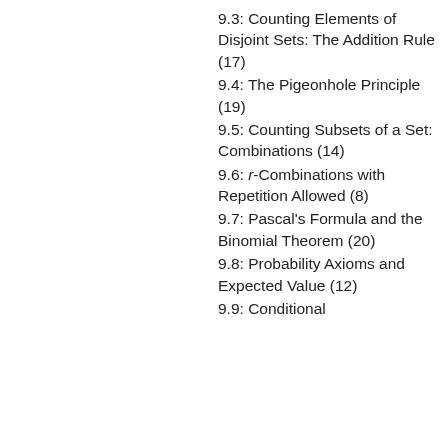9.3: Counting Elements of Disjoint Sets: The Addition Rule (17)
9.4: The Pigeonhole Principle (19)
9.5: Counting Subsets of a Set: Combinations (14)
9.6: r-Combinations with Repetition Allowed (8)
9.7: Pascal's Formula and the Binomial Theorem (20)
9.8: Probability Axioms and Expected Value (12)
9.9: Conditional